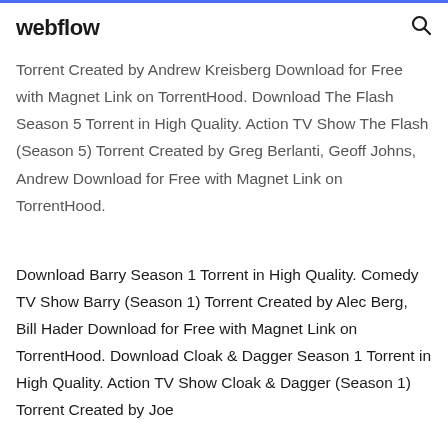webflow
Torrent Created by Andrew Kreisberg Download for Free with Magnet Link on TorrentHood. Download The Flash Season 5 Torrent in High Quality. Action TV Show The Flash (Season 5) Torrent Created by Greg Berlanti, Geoff Johns, Andrew Download for Free with Magnet Link on TorrentHood.
Download Barry Season 1 Torrent in High Quality. Comedy TV Show Barry (Season 1) Torrent Created by Alec Berg, Bill Hader Download for Free with Magnet Link on TorrentHood. Download Cloak & Dagger Season 1 Torrent in High Quality. Action TV Show Cloak & Dagger (Season 1) Torrent Created by Joe